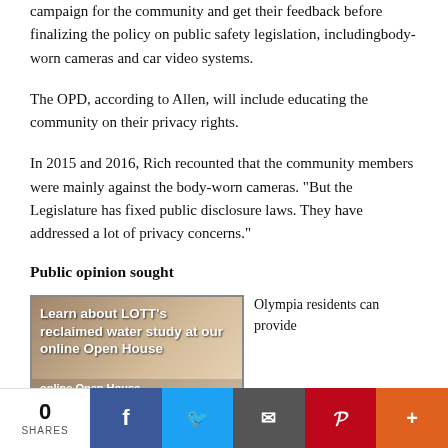campaign for the community and get their feedback before finalizing the policy on public safety legislation, includingbody-worn cameras and car video systems.
The OPD, according to Allen, will include educating the community on their privacy rights.
In 2015 and 2016, Rich recounted that the community members were mainly against the body-worn cameras. “But the Legislature has fixed public disclosure laws. They have addressed a lot of privacy concerns.”
Public opinion sought
[Figure (photo): Advertisement image for LOTT's reclaimed water study with bold white text overlay reading 'Learn about LOTT's reclaimed water study at our online Open House']
Olympia residents can provide
0 SHARES | Facebook | Twitter | Email | Pinterest | More